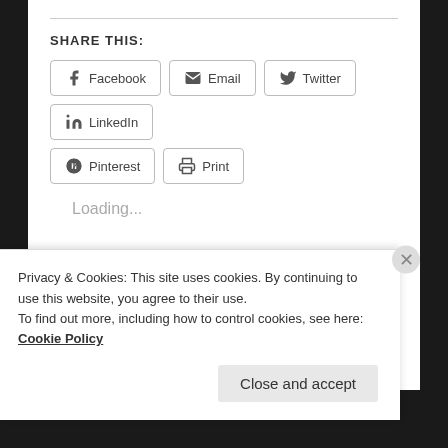SHARE THIS:
Facebook
Email
Twitter
LinkedIn
Pinterest
Print
Loading...
RELATED
Grace Conquers Grief
New Normal?
Privacy & Cookies: This site uses cookies. By continuing to use this website, you agree to their use.
To find out more, including how to control cookies, see here: Cookie Policy
Close and accept